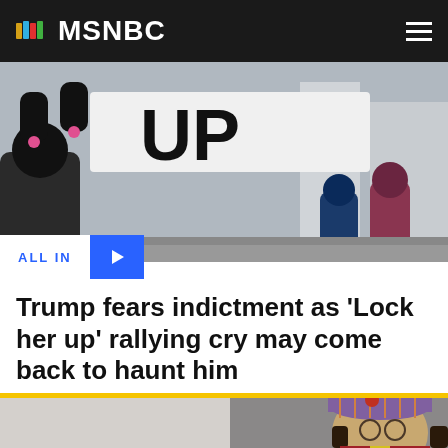MSNBC
[Figure (photo): Protesters holding signs reading 'UP' at a street demonstration, wearing winter coats and gloves]
ALL IN
Trump fears indictment as 'Lock her up' rallying cry may come back to haunt him
[Figure (photo): A man wearing a plaid flat cap with a red pom-pom, glasses, and long dark hair, looking to the side, wearing a red jacket with yellow shirt]